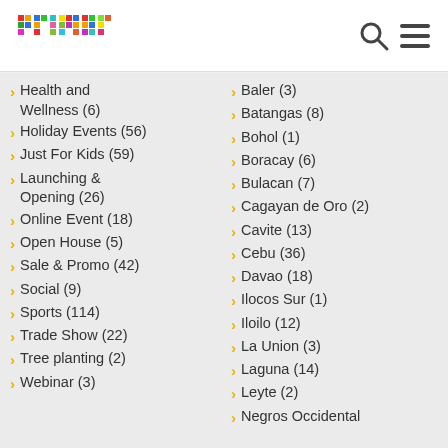primer
Health and Wellness (6)
Holiday Events (56)
Just For Kids (59)
Launching & Opening (26)
Online Event (18)
Open House (5)
Sale & Promo (42)
Social (9)
Sports (114)
Trade Show (22)
Tree planting (2)
Webinar (3)
Baler (3)
Batangas (8)
Bohol (1)
Boracay (6)
Bulacan (7)
Cagayan de Oro (2)
Cavite (13)
Cebu (36)
Davao (18)
Ilocos Sur (1)
Iloilo (12)
La Union (3)
Laguna (14)
Leyte (2)
Negros Occidental